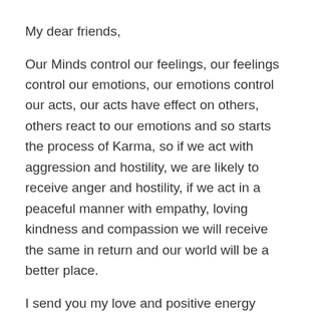My dear friends,
Our Minds control our feelings, our feelings control our emotions, our emotions control our acts, our acts have effect on others, others react to our emotions and so starts the process of Karma, so if we act with aggression and hostility, we are likely to receive anger and hostility, if we act in a peaceful manner with empathy, loving kindness and compassion we will receive the same in return and our world will be a better place.
I send you my love and positive energy today and everyday, may your day be filled with love, happiness and joy 🙂
Namaste with Love